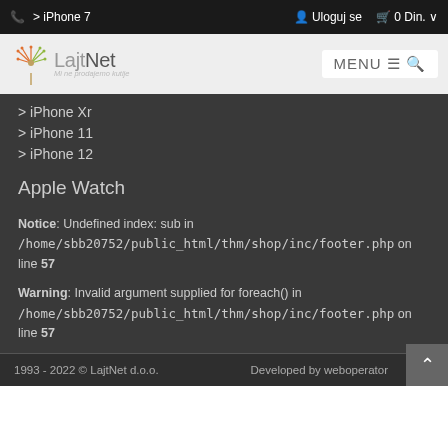📞 > iPhone 7   Uloguj se   🛒 0 Din. ∨
[Figure (logo): LajtNet logo with dandelion graphic and tagline 'Mi ne prodajemo kutije']
> iPhone Xr
> iPhone 11
> iPhone 12
Apple Watch
Notice: Undefined index: sub in /home/sbb20752/public_html/thm/shop/inc/footer.php on line 57
Warning: Invalid argument supplied for foreach() in /home/sbb20752/public_html/thm/shop/inc/footer.php on line 57
1993 - 2022 © LajtNet d.o.o.   Developed by weboperator